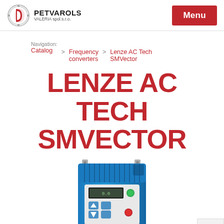PETVAROLS VALERIA spol.s.r.o. | Menu
Navigation: Catalog > Frequency converters > Lenze AC Tech SMVector
LENZE AC TECH SMVECTOR
[Figure (photo): Lenze AC Tech SMVector frequency converter — blue rectangular unit with keypad, display, and SMV/Lenze AC Tech branding]